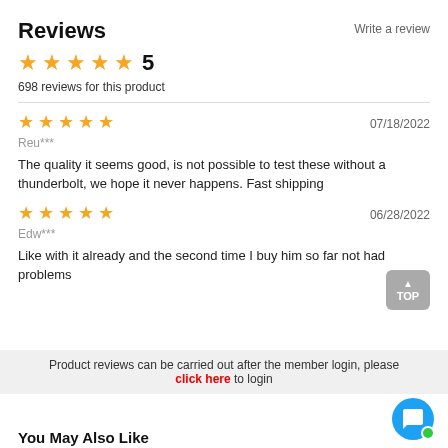Reviews
Write a review
★★★★★ 5
698 reviews for this product
★★★★★   07/18/2022
Reu***

The quality it seems good, is not possible to test these without a thunderbolt, we hope it never happens. Fast shipping
★★★★★   06/28/2022
Edw***

Like with it already and the second time I buy him so far not had problems
Product reviews can be carried out after the member login, please click here to login
You May Also Like